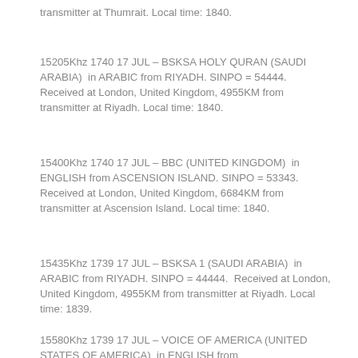transmitter at Thumrait. Local time: 1840.
15205Khz 1740 17 JUL – BSKSA HOLY QURAN (SAUDI ARABIA)  in ARABIC from RIYADH. SINPO = 54444.  Received at London, United Kingdom, 4955KM from transmitter at Riyadh. Local time: 1840.
15400Khz 1740 17 JUL – BBC (UNITED KINGDOM)  in ENGLISH from ASCENSION ISLAND. SINPO = 53343.  Received at London, United Kingdom, 6684KM from transmitter at Ascension Island. Local time: 1840.
15435Khz 1739 17 JUL – BSKSA 1 (SAUDI ARABIA)  in ARABIC from RIYADH. SINPO = 44444.  Received at London, United Kingdom, 4955KM from transmitter at Riyadh. Local time: 1839.
15580Khz 1739 17 JUL – VOICE OF AMERICA (UNITED STATES OF AMERICA)  in ENGLISH from